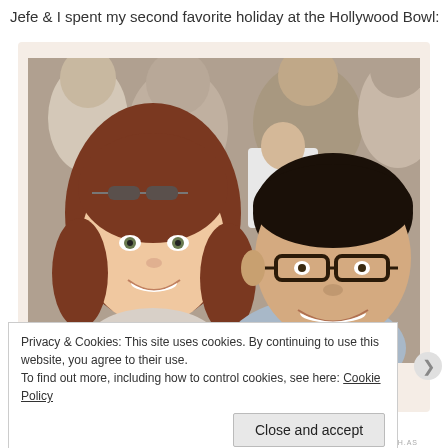Jefe & I spent my second favorite holiday at the Hollywood Bowl:
[Figure (photo): Selfie of a young woman with auburn curly hair and a man with glasses smiling at the Hollywood Bowl, crowd visible in background]
Privacy & Cookies: This site uses cookies. By continuing to use this website, you agree to their use.
To find out more, including how to control cookies, see here: Cookie Policy
Close and accept